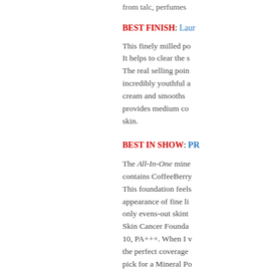from talc, perfumes
BEST FINISH: Laura
This finely milled po... It helps to clear the s... The real selling poin... incredibly youthful a... cream and smooths... provides medium co... skin.
BEST IN SHOW: PR
The All-In-One mine... contains CoffeeBerry... This foundation feels... appearance of fine li... only evens-out skint... Skin Cancer Founda... 10, PA+++. When I v... the perfect coverage... pick for a Mineral Po